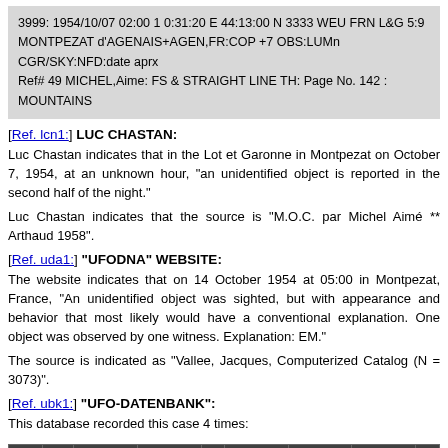3999: 1954/10/07 02:00 1 0:31:20 E 44:13:00 N 3333 WEU FRN L&G 5:9
MONTPEZAT d'AGENAIS+AGEN,FR:COP +7 OBS:LUMn CGR/SKY:NFD:date aprx
Ref# 49 MICHEL,Aime: FS & STRAIGHT LINE TH: Page No. 142 : MOUNTAINS
[Ref. lcn1:] LUC CHASTAN:
Luc Chastan indicates that in the Lot et Garonne in Montpezat on October 7, 1954, at an unknown hour, "an unidentified object is reported in the second half of the night."
Luc Chastan indicates that the source is "M.O.C. par Michel Aimé ** Arthaud 1958".
[Ref. uda1:] "UFODNA" WEBSITE:
The website indicates that on 14 October 1954 at 05:00 in Montpezat, France, "An unidentified object was sighted, but with appearance and behavior that most likely would have a conventional explanation. One object was observed by one witness. Explanation: EM."
The source is indicated as "Vallee, Jacques, Computerized Catalog (N = 3073)".
[Ref. ubk1:] "UFO-DATENBANK":
This database recorded this case 4 times:
| Case Nr. | New case Nr. | Investigator | Date of observation | Zip | Place of observation | Country of observation | Hour of observation | Cla... |
| --- | --- | --- | --- | --- | --- | --- | --- | --- |